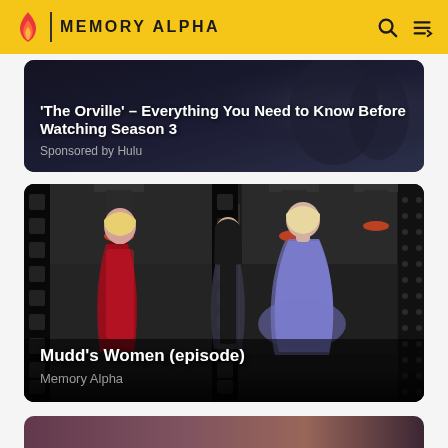MEMORY ALPHA
'The Orville' – Everything You Need to Know Before Watching Season 3
Sponsored by Hulu
[Figure (photo): Promotional image for The Orville Season 3, dark space scene background]
Mudd's Women (episode)
Memory Alpha
[Figure (photo): Scene from Star Trek episode Mudd's Women showing three women in colorful dresses in a corridor with film strip border effect]
[Figure (photo): Partially visible third content card at bottom of page]